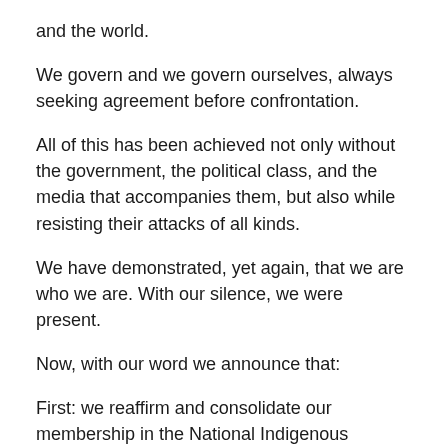and the world.
We govern and we govern ourselves, always seeking agreement before confrontation.
All of this has been achieved not only without the government, the political class, and the media that accompanies them, but also while resisting their attacks of all kinds.
We have demonstrated, yet again, that we are who we are. With our silence, we were present.
Now, with our word we announce that:
First: we reaffirm and consolidate our membership in the National Indigenous Congress [CNI],a space for meeting with the original peoples of our country.